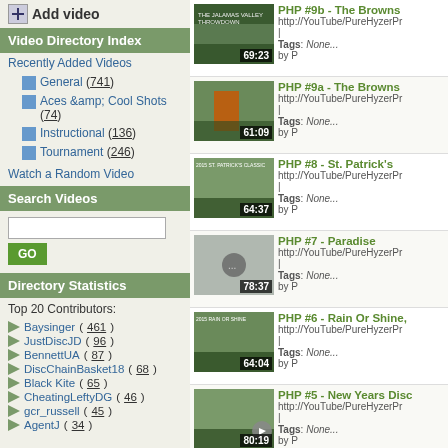Add video
Video Directory Index
Recently Added Videos
General (741)
Aces &amp; Cool Shots (74)
Instructional (136)
Tournament (246)
Watch a Random Video
Search Videos
Directory Statistics
Top 20 Contributors:
Baysinger (461)
JustDiscJD (96)
BennettUA (87)
DiscChainBasket18 (68)
Black Kite (65)
CheatingLeftyDG (46)
gcr_russell (45)
AgentJ (34)
[Figure (screenshot): Video thumbnail for PHP #9b - The Browns with duration 69:23]
PHP #9b - The Browns
http://YouTube/PureHyzerPr|
Tags: None... by P
[Figure (screenshot): Video thumbnail for PHP #9a - The Browns with duration 61:09]
PHP #9a - The Browns
http://YouTube/PureHyzerPr|
Tags: None... by P
[Figure (screenshot): Video thumbnail for PHP #8 - St. Patrick's with duration 64:37]
PHP #8 - St. Patrick's
http://YouTube/PureHyzerPr|
Tags: None... by P
[Figure (screenshot): Video thumbnail for PHP #7 - Paradise with duration 78:37]
PHP #7 - Paradise
http://YouTube/PureHyzerPr|
Tags: None... by P
[Figure (screenshot): Video thumbnail for PHP #6 - Rain Or Shine, with duration 64:04]
PHP #6 - Rain Or Shine,
http://YouTube/PureHyzerPr|
Tags: None... by P
[Figure (screenshot): Video thumbnail for PHP #5 - New Years Disc with duration 80:19]
PHP #5 - New Years Disc
http://YouTube/PureHyzerPr|
Tags: None... by P
[Figure (screenshot): Video thumbnail for PHP #4b - Norcal Series with duration 71:00]
PHP #4b - Norcal Series
It's down to the third and final round at the Norcal T